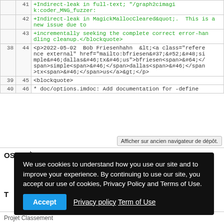|  |  | code |
| --- | --- | --- |
|  | 41 | +Indirect-leak in full-text; &quot;/graph2cimagi
k:coder_MNG_fuzzer: |
|  | 42 | +Indirect-leak in MagickMallocCleared&quot;.  This is a new issue due to |
|  | 43 | +incrementally seeking the complete correct error-handling cleanup.</blockquote> |
| 38 | 44 | <p>2022-05-02  Bob Friesenhahn  &lt;<a class="reference external" href="mailto:bfriesen&#37;&#52;&#48;simple&#46;dallas&#46;tx&#46;us">bfriesen<span>&#64;</span>simple<span>&#46;</span>dallas<span>&#46;</span>tx<span>&#46;</span>us</a>&gt;</p> |
| 39 | 45 | <blockquote> |
| 40 | 46 | * doc/options.imdoc: Add documentation for -define |
Afficher sur ancien navigateur de dépôt.
OSDN:À propos:
We use cookies to understand how you use our site and to improve your experience. By continuing to use our site, you accept our use of cookies, Privacy Policy and Terms of Use.
Accept   Privacy policy  Term of Use
T
Projet Classement